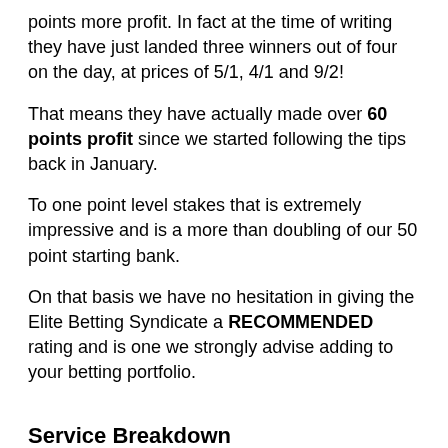points more profit. In fact at the time of writing they have just landed three winners out of four on the day, at prices of 5/1, 4/1 and 9/2!
That means they have actually made over 60 points profit since we started following the tips back in January.
To one point level stakes that is extremely impressive and is a more than doubling of our 50 point starting bank.
On that basis we have no hesitation in giving the Elite Betting Syndicate a RECOMMENDED rating and is one we strongly advise adding to your betting portfolio.
Service Breakdown
Ease of use:  There are around 3 tips per day